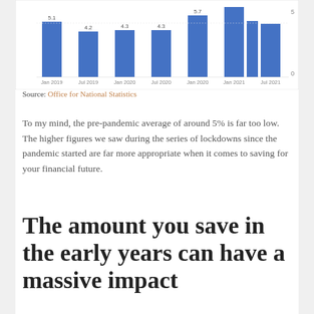[Figure (bar-chart): UK Savings Rate]
Source: Office for National Statistics
To my mind, the pre-pandemic average of around 5% is far too low. The higher figures we saw during the series of lockdowns since the pandemic started are far more appropriate when it comes to saving for your financial future.
The amount you save in the early years can have a massive impact